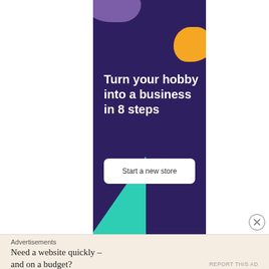[Figure (illustration): Advertisement banner with dark purple background, purple blob top-left, orange blob top-right, teal triangle bottom-left, white headline text and a white button]
Turn your hobby into a business in 8 steps
Start a new store
Advertisements
Need a website quickly – and on a budget?